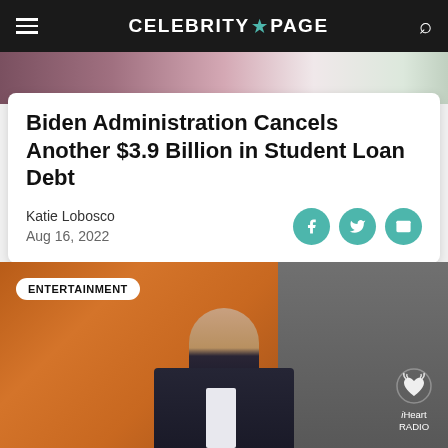CELEBRITY PAGE
[Figure (photo): Partial photo of flowers/floral background at top of page]
Biden Administration Cancels Another $3.9 Billion in Student Loan Debt
Katie Lobosco
Aug 16, 2022
[Figure (photo): Young man in dark suit with white shirt at iHeartRadio event, with ENTERTAINMENT badge overlay]